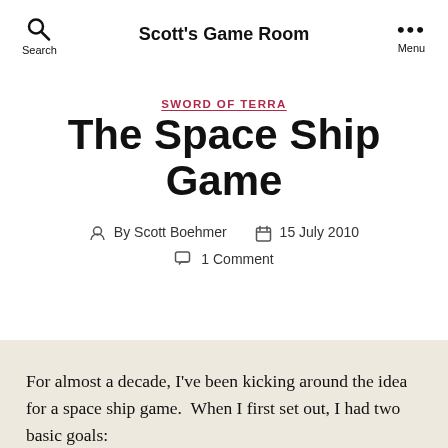Scott's Game Room
SWORD OF TERRA
The Space Ship Game
By Scott Boehmer   15 July 2010   1 Comment
For almost a decade, I've been kicking around the idea for a space ship game.  When I first set out, I had two basic goals: